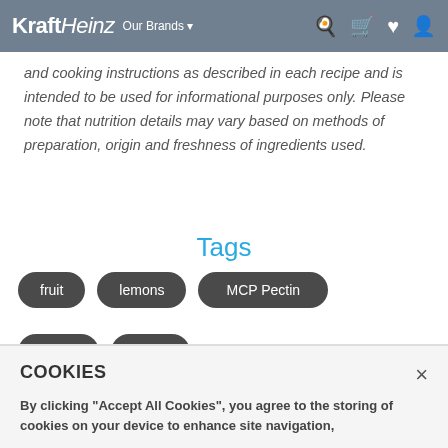KraftHeinz Our Brands
and cooking instructions as described in each recipe and is intended to be used for informational purposes only. Please note that nutrition details may vary based on methods of preparation, origin and freshness of ingredients used.
Tags
fruit
lemons
MCP Pectin
pectin
sugar
COOKIES
By clicking "Accept All Cookies", you agree to the storing of cookies on your device to enhance site navigation,